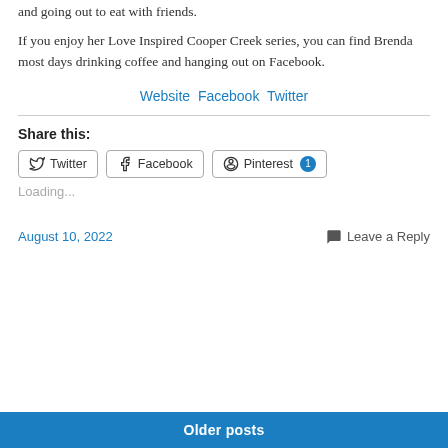and going out to eat with friends.
If you enjoy her Love Inspired Cooper Creek series, you can find Brenda most days drinking coffee and hanging out on Facebook.
Website Facebook Twitter
Share this:
Twitter  Facebook  Pinterest 1
Loading...
August 10, 2022   Leave a Reply
Older posts